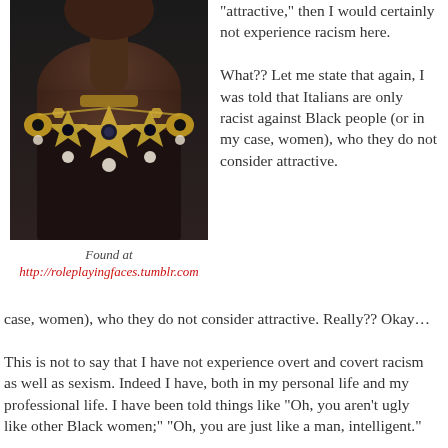[Figure (photo): A dark-skinned figure from the neck down wearing an elaborate ornate gold and white statement necklace with multiple large jeweled medallion pieces against a dark background.]
Found at
http://roleplayingfaces.tumblr.com
attractive,” then I would certainly not experience racism here.

What?? Let me state that again, I was told that Italians are only racist against Black people (or in my case, women), who they do not consider attractive. Really?? Okay…

This is not to say that I have not experience overt and covert racism as well as sexism. Indeed I have, both in my personal life and my professional life. I have been told things like “Oh, you aren’t ugly like other Black women;” “Oh, you are just like a man, intelligent.”